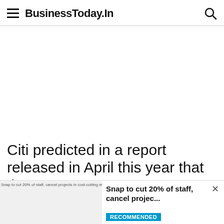BusinessToday.In
[Figure (other): Advertisement / blank white space area]
Citi predicted in a report released in April this year that the metaverse represents roughly $8
Snap to cut 20% of staff, cancel projects in cost-cutting effort
Snap to cut 20% of staff, cancel projec...
RECOMMENDED